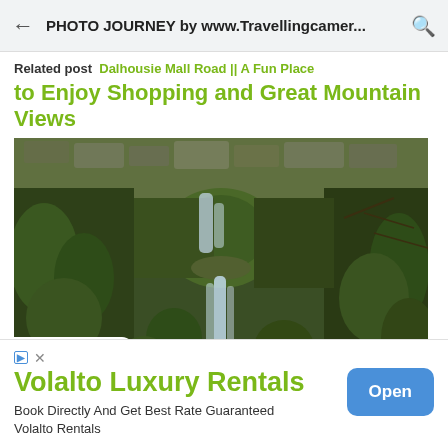PHOTO JOURNEY by www.Travellingcamer...
Related post  Dalhousie Mall Road || A Fun Place to Enjoy Shopping and Great Mountain Views
[Figure (photo): Waterfall cascading down mossy green rocks and stone wall with lush vegetation on both sides]
Volalto Luxury Rentals
Book Directly And Get Best Rate Guaranteed Volalto Rentals